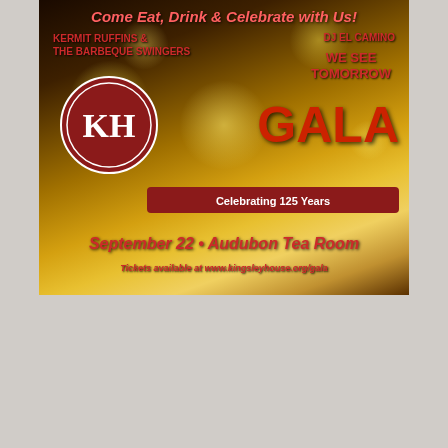[Figure (illustration): Kingsley House 'We See Tomorrow Gala' event advertisement on golden bokeh background. Features KH logo circle, text for performers Kermit Ruffins & The Barbeque Swingers and DJ El Camino, 'GALA Celebrating 125 Years', date September 22, Audubon Tea Room, tickets at www.kingsleyhouse.org/gala]
[Figure (illustration): New Orleans Creole Cookery advertisement on black background with gold accents. Features round logo with crawfish, musical notes, 'Courtyard Dining IN THE FRENCH QUARTER', and OYSTERS text at bottom]